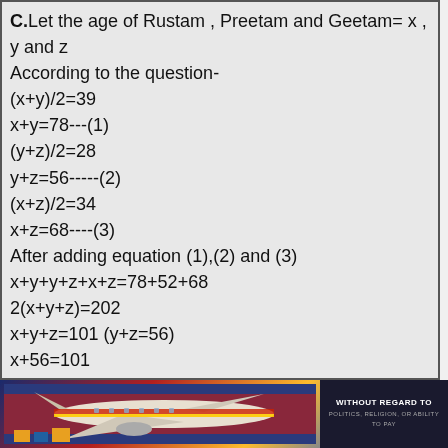C.Let the age of Rustam , Preetam and Geetam= x , y and z
According to the question-
(x+y)/2=39
x+y=78---(1)
(y+z)/2=28
y+z=56-----(2)
(x+z)/2=34
x+z=68----(3)
After adding equation (1),(2) and (3)
x+y+y+z+x+z=78+52+68
2(x+y+z)=202
x+y+z=101 (y+z=56)
x+56=101
x=45
x+y+z=101 (x+z=68)
[Figure (photo): Advertisement banner showing a cargo airplane with airline livery and a dark badge saying WITHOUT REGARD TO with small text below]